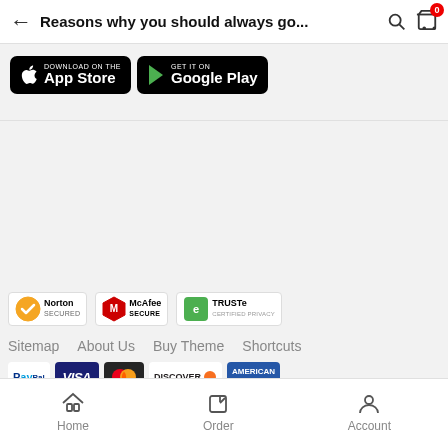Reasons why you should always go...
[Figure (logo): App Store and Google Play download badges]
[Figure (logo): Norton Secured, McAfee SECURE, TRUSTe Certified Privacy security badges]
Sitemap   About Us   Buy Theme   Shortcuts
[Figure (logo): Payment method icons: PayPal, Visa, Mastercard, Discover, American Express]
© Copyright 2021 Roky . By WoxMarketing.
Home   Order   Account